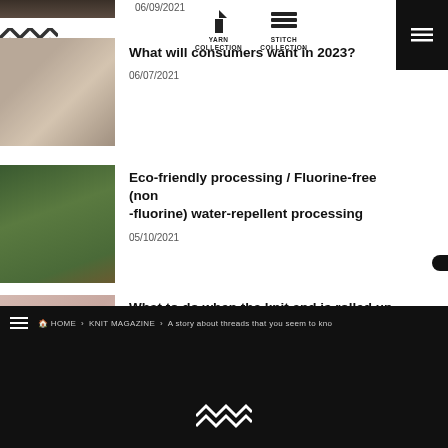[Figure (photo): Partial dark background photo visible at top]
06/09/2021
[Figure (logo): Yarn Collection icon with hourglass symbol]
[Figure (logo): Stitch Collection icon with wheat/knit symbol]
[Figure (illustration): Zigzag/chevron logo on left]
[Figure (photo): Hands with organizer/knitting supplies]
What will consumers want in 2023?
06/07/2021
[Figure (photo): Hands holding green plants/leaves]
Eco-friendly processing / Fluorine-free (non-fluorine) water-repellent processing
05/10/2021
[Figure (photo): Pink/mauve fabric rolled at corner]
What to do when the knit end is rolled up
05/07/2021
HOME > KNIT MAGAZINE > A story about threads that you seem to kno...